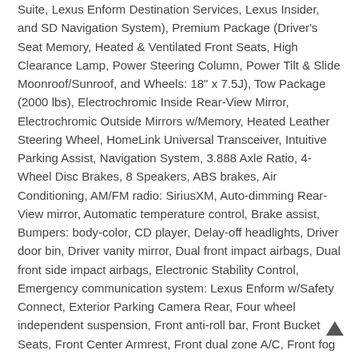Suite, Lexus Enform Destination Services, Lexus Insider, and SD Navigation System), Premium Package (Driver's Seat Memory, Heated & Ventilated Front Seats, High Clearance Lamp, Power Steering Column, Power Tilt & Slide Moonroof/Sunroof, and Wheels: 18" x 7.5J), Tow Package (2000 lbs), Electrochromic Inside Rear-View Mirror, Electrochromic Outside Mirrors w/Memory, Heated Leather Steering Wheel, HomeLink Universal Transceiver, Intuitive Parking Assist, Navigation System, 3.888 Axle Ratio, 4-Wheel Disc Brakes, 8 Speakers, ABS brakes, Air Conditioning, AM/FM radio: SiriusXM, Auto-dimming Rear-View mirror, Automatic temperature control, Brake assist, Bumpers: body-color, CD player, Delay-off headlights, Driver door bin, Driver vanity mirror, Dual front impact airbags, Dual front side impact airbags, Electronic Stability Control, Emergency communication system: Lexus Enform w/Safety Connect, Exterior Parking Camera Rear, Four wheel independent suspension, Front anti-roll bar, Front Bucket Seats, Front Center Armrest, Front dual zone A/C, Front fog lights, Front reading lights, Fully automatic headlights, Heated door mirrors, Illuminated entry, Knee airbag, Leather Shift Knob, Leather...